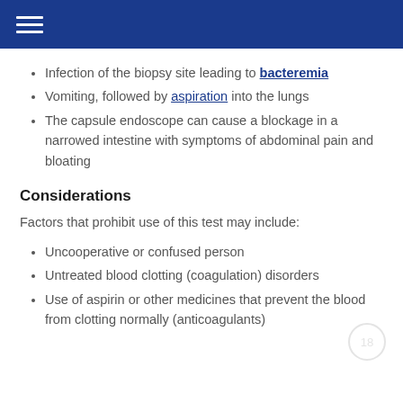Infection of the biopsy site leading to bacteremia
Vomiting, followed by aspiration into the lungs
The capsule endoscope can cause a blockage in a narrowed intestine with symptoms of abdominal pain and bloating
Considerations
Factors that prohibit use of this test may include:
Uncooperative or confused person
Untreated blood clotting (coagulation) disorders
Use of aspirin or other medicines that prevent the blood from clotting normally (anticoagulants)